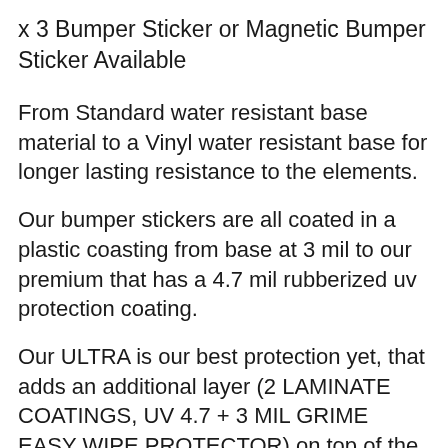x 3 Bumper Sticker or Magnetic Bumper Sticker Available
From Standard water resistant base material to a Vinyl water resistant base for longer lasting resistance to the elements.
Our bumper stickers are all coated in a plastic coasting from base at 3 mil to our premium that has a 4.7 mil rubberized uv protection coating.
Our ULTRA is our best protection yet, that adds an additional layer (2 LAMINATE COATINGS, UV 4.7 + 3 MIL GRIME EASY WIPE PROTECTOR) on top of the premium to offer our most premium bumper sticker ever.... see photos for a breakdown of the options.
-NOTE: if you do not see an ultra option in the menu, message us to have it added, additional costs apply